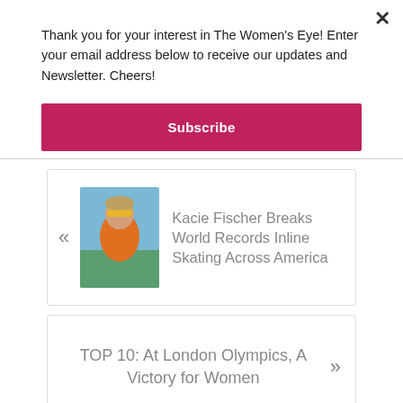Thank you for your interest in The Women's Eye! Enter your email address below to receive our updates and Newsletter. Cheers!
Subscribe
« Kacie Fischer Breaks World Records Inline Skating Across America
TOP 10: At London Olympics, A Victory for Women »